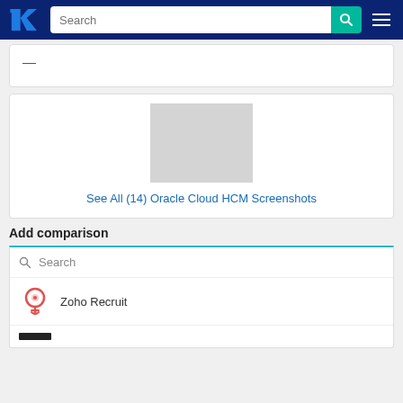TrustRadius navigation bar with Search input and menu
—
[Figure (screenshot): Gray placeholder image for Oracle Cloud HCM screenshot]
See All (14) Oracle Cloud HCM Screenshots
Add comparison
Search
Zoho Recruit